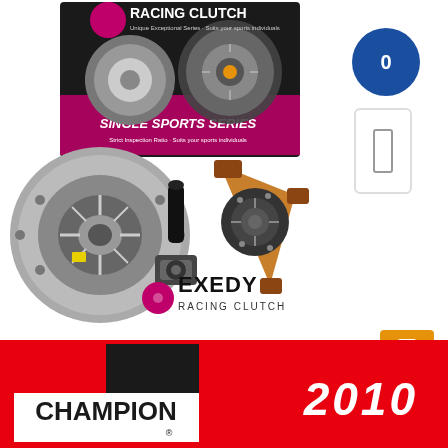[Figure (photo): Exedy Racing Clutch Single Sports Series product kit showing clutch pressure plate, disc, release bearing, alignment tool, and product box with 'Single Sports Series' branding. Exedy Racing Clutch logo visible below components.]
[Figure (logo): Blue circular badge with number 0 and white rectangular badge below it on right side]
[Figure (logo): Orange square badge on right side lower area]
[Figure (logo): Champion spark plug logo in white box on red banner background with '2010' year in italic white text]